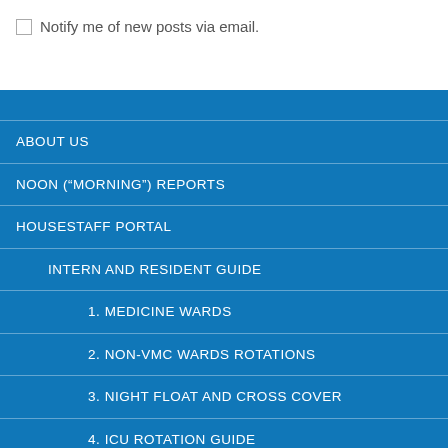Notify me of new posts via email.
ABOUT US
NOON ("MORNING") REPORTS
HOUSESTAFF PORTAL
INTERN AND RESIDENT GUIDE
1. MEDICINE WARDS
2. NON-VMC WARDS ROTATIONS
3. NIGHT FLOAT AND CROSS COVER
4. ICU ROTATION GUIDE
5. CCU ROTATION GUIDE